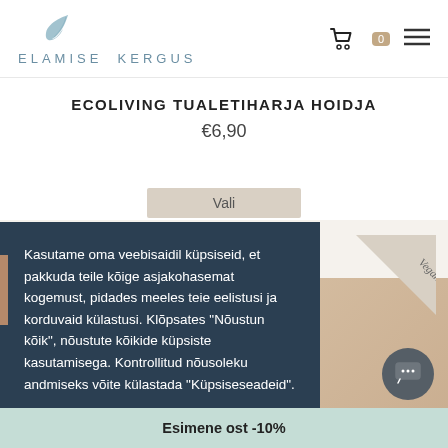[Figure (logo): Elamise Kergus logo with feather icon and text]
ECOLIVING TUALETIHARJA HOIDJA
€6,90
Vali
[Figure (illustration): Vegan badge triangle in corner]
Kasutame oma veebisaidil küpsiseid, et pakkuda teile kõige asjakohasemat kogemust, pidades meeles teie eelistusi ja korduvaid külastusi. Klõpsates "Nõustun kõik", nõustute kõikide küpsiste kasutamisega. Kontrollitud nõusoleku andmiseks võite külastada "Küpsiseseadeid".
Küpsiste sätted
Nõustu kõigiga
Esimene ost -10%